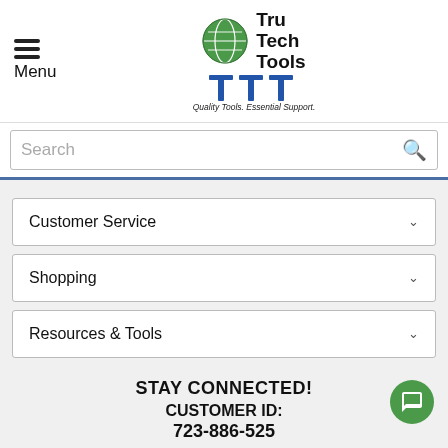[Figure (logo): Tru Tech Tools logo with globe icon and T-shaped symbol. Tagline: Quality Tools. Essential Support.]
Menu
Search
Customer Service
Shopping
Resources & Tools
STAY CONNECTED!
CUSTOMER ID:
723-886-525